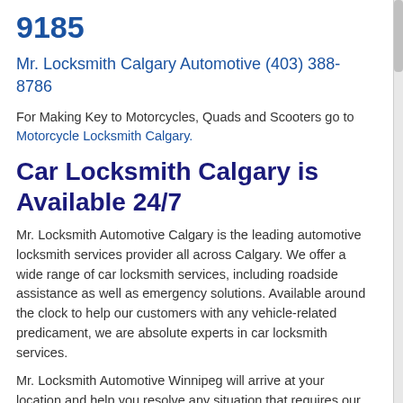9185
Mr. Locksmith Calgary Automotive (403) 388-8786
For Making Key to Motorcycles, Quads and Scooters go to Motorcycle Locksmith Calgary.
Car Locksmith Calgary is Available 24/7
Mr. Locksmith Automotive Calgary is the leading automotive locksmith services provider all across Calgary. We offer a wide range of car locksmith services, including roadside assistance as well as emergency solutions. Available around the clock to help our customers with any vehicle-related predicament, we are absolute experts in car locksmith services.
Mr. Locksmith Automotive Winnipeg will arrive at your location and help you resolve any situation that requires our help.